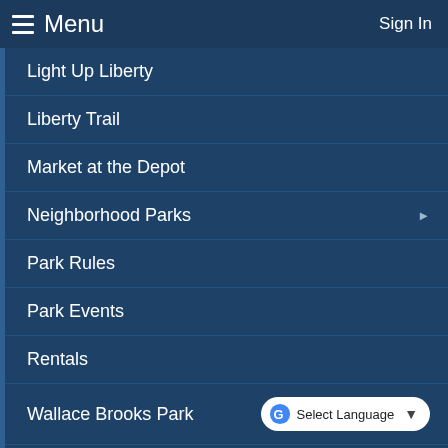Menu  Sign In
Light Up Liberty
Liberty Trail
Market at the Depot
Neighborhood Parks
Park Rules
Park Events
Rentals
Wallace Brooks Park
Whispering Pines Park